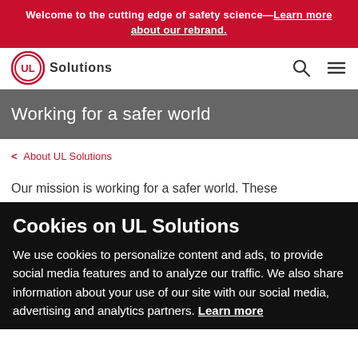Welcome to the cutting edge of safety science—Learn more about our rebrand.
[Figure (logo): UL Solutions logo — circular UL mark in red and white with 'Solutions' text to the right]
Working for a safer world
< About UL Solutions
Our mission is working for a safer world. These
Cookies on UL Solutions
We use cookies to personalize content and ads, to provide social media features and to analyze our traffic. We also share information about your use of our site with our social media, advertising and analytics partners. Learn more